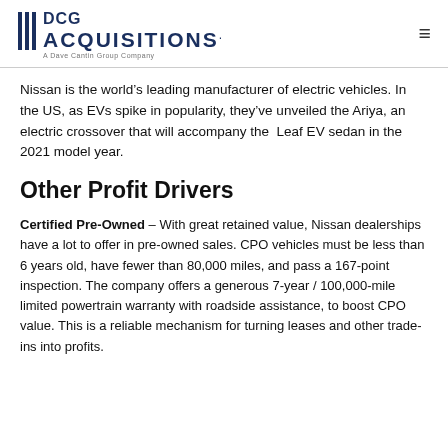DCG ACQUISITIONS. A Dave Cantin Group Company
Nissan is the world’s leading manufacturer of electric vehicles. In the US, as EVs spike in popularity, they’ve unveiled the Ariya, an electric crossover that will accompany the Leaf EV sedan in the 2021 model year.
Other Profit Drivers
Certified Pre-Owned – With great retained value, Nissan dealerships have a lot to offer in pre-owned sales. CPO vehicles must be less than 6 years old, have fewer than 80,000 miles, and pass a 167-point inspection. The company offers a generous 7-year / 100,000-mile limited powertrain warranty with roadside assistance, to boost CPO value. This is a reliable mechanism for turning leases and other trade-ins into profits.